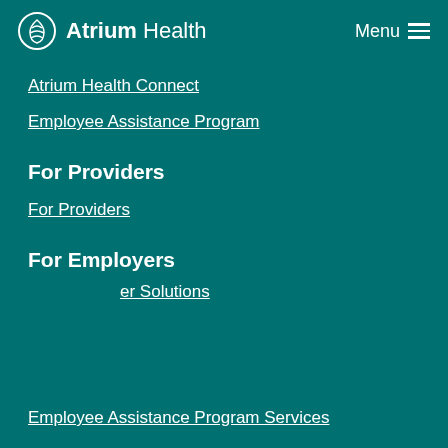Atrium Health  Menu
Atrium Health Connect
Employee Assistance Program
For Providers
For Providers
For Employers
[Figure (other): Back to Top button with upward chevron arrow]
Employer Solutions
Employee Assistance Program Services